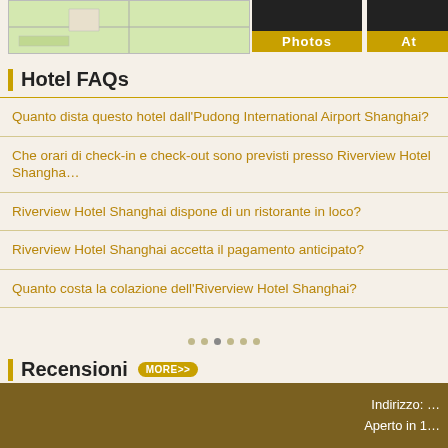[Figure (map): Partial map thumbnail in top left corner]
Hotel FAQs
Quanto dista questo hotel dall'Pudong International Airport Shanghai?
Che orari di check-in e check-out sono previsti presso Riverview Hotel Shanghai?
Riverview Hotel Shanghai dispone di un ristorante in loco?
Riverview Hotel Shanghai accetta il pagamento anticipato?
Quanto costa la colazione dell'Riverview Hotel Shanghai?
Recensioni MORE>>
Indirizzo: 
Aperto in 1